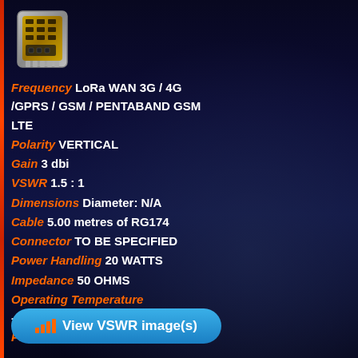[Figure (illustration): Antenna/chip module icon — gold and silver colored hardware connector icon]
Frequency LoRa WAN 3G / 4G /GPRS / GSM / PENTABAND GSM LTE
Polarity VERTICAL
Gain 3 dbi
VSWR 1.5 : 1
Dimensions Diameter: N/A
Cable 5.00 metres of RG174
Connector TO BE SPECIFIED
Power Handling 20 WATTS
Impedance 50 OHMS
Operating Temperature -40° / +85°C ( -40° / 185°F )
Protection IP67
View VSWR image(s)